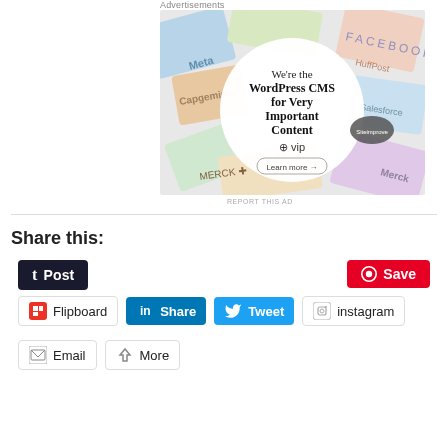Advertisements
[Figure (illustration): WordPress VIP advertisement showing 'We're the WordPress CMS for Very Important Content' with WP VIP logo and 'Learn more' button, surrounded by colorful brand card collage]
REPORT THIS AD
Share this:
Post
Save
Flipboard
Share
Tweet
instagram
Email
More